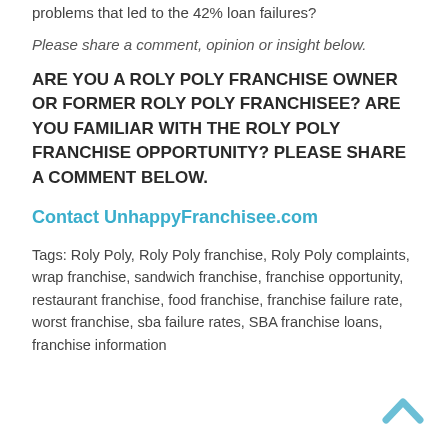problems that led to the 42% loan failures?
Please share a comment, opinion or insight below.
ARE YOU A ROLY POLY FRANCHISE OWNER OR FORMER ROLY POLY FRANCHISEE?  ARE YOU FAMILIAR WITH THE ROLY POLY FRANCHISE OPPORTUNITY?  PLEASE SHARE A COMMENT BELOW.
Contact UnhappyFranchisee.com
Tags:  Roly Poly, Roly Poly franchise, Roly Poly complaints, wrap franchise, sandwich franchise, franchise opportunity, restaurant franchise, food franchise, franchise failure rate, worst franchise, sba failure rates, SBA franchise loans, franchise information